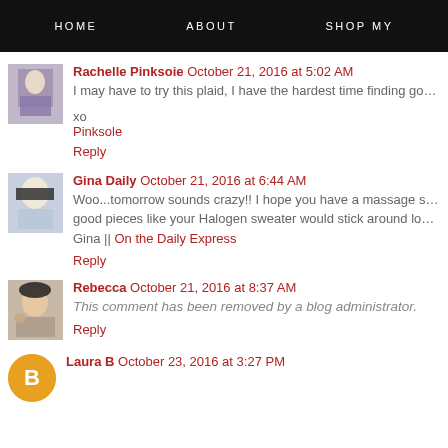HOME   ABOUT   SHOP MY
Rachelle Pinksoie  October 21, 2016 at 5:02 AM
I may have to try this plaid, I have the hardest time finding good c
xo
Pinksole
Reply
Gina Daily  October 21, 2016 at 6:44 AM
Woo...tomorrow sounds crazy!! I hope you have a massage sche good pieces like your Halogen sweater would stick around longer! Gina || On the Daily Express
Reply
Rebecca  October 21, 2016 at 8:37 AM
This comment has been removed by a blog administrator.
Reply
Laura B  October 23, 2016 at 3:27 PM